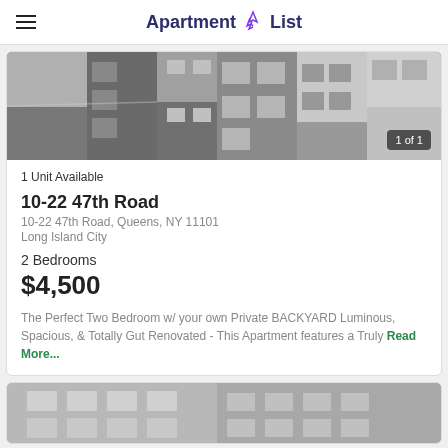Apartment List
[Figure (photo): Aerial satellite view of urban rooftops, showing multiple buildings from above. Counter reads '1 of 1'.]
1 Unit Available
10-22 47th Road
10-22 47th Road, Queens, NY 11101
Long Island City
2 Bedrooms
$4,500
The Perfect Two Bedroom w/ your own Private BACKYARD Luminous, Spacious, & Totally Gut Renovated - This Apartment features a Truly Read More...
[Figure (photo): Partial view of a residential building facade, appearing as the top of a second listing card.]